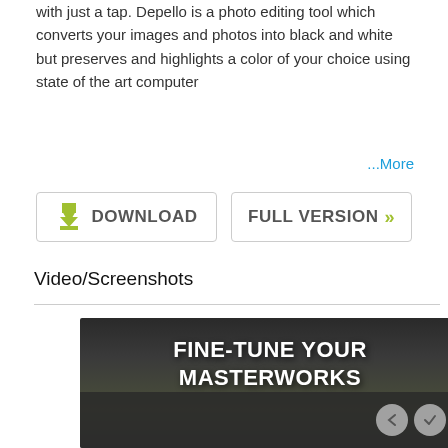with just a tap. Depello is a photo editing tool which converts your images and photos into black and white but preserves and highlights a color of your choice using state of the art computer ...
...More
[Figure (screenshot): Two buttons side by side: DOWNLOAD button with green arrow icon, and FULL VERSION button with green chevrons]
Video/Screenshots
[Figure (screenshot): Dark screenshot image showing text 'FINE-TUNE YOUR MASTERWORKS' in bold white on dark background with navigation circles in bottom right]